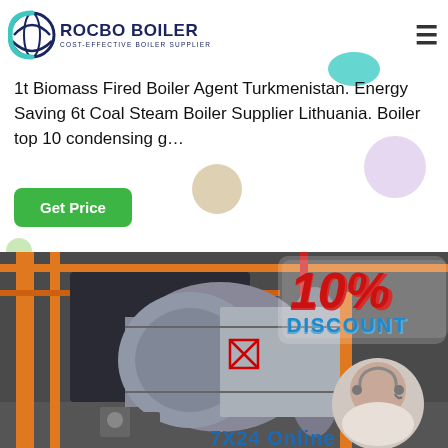ROCBO BOILER — COST-EFFECTIVE BOILER SUPPLIER
1t Biomass Fired Boiler Agent Turkmenistan. Energy Saving 6t Coal Steam Boiler Supplier Lithuania. Boiler top 10 condensing g…
Get Price
[Figure (photo): Industrial boiler facility with orange structural supports, large cylindrical steel boiler, pipes and machinery. Overlaid with a 10% DISCOUNT badge and a customer service agent in a circular photo. Text '7X24 Online' at bottom right.]